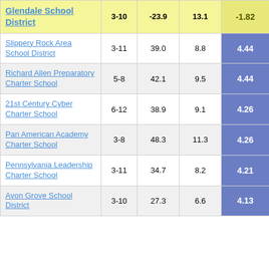| School/District | Grades | Col3 | Col4 | Score |
| --- | --- | --- | --- | --- |
| Glendale School District | 3-10 | -23.9 | 13.1 | -1.82 |
| Slippery Rock Area School District | 3-11 | 39.0 | 8.8 | 4.44 |
| Richard Allen Preparatory Charter School | 5-8 | 42.1 | 9.5 | 4.44 |
| 21st Century Cyber Charter School | 6-12 | 38.9 | 9.1 | 4.26 |
| Pan American Academy Charter School | 3-8 | 48.3 | 11.3 | 4.26 |
| Pennsylvania Leadership Charter School | 3-11 | 34.7 | 8.2 | 4.21 |
| Avon Grove School District | 3-10 | 27.3 | 6.6 | 4.13 |